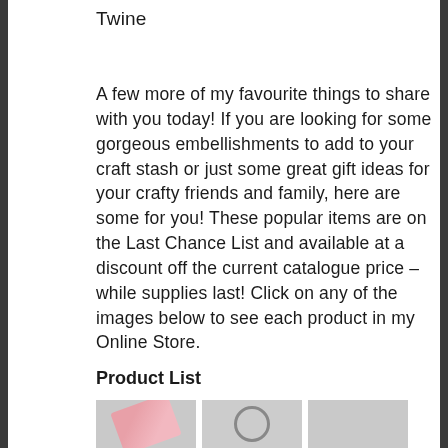Twine
A few more of my favourite things to share with you today! If you are looking for some gorgeous embellishments to add to your craft stash or just some great gift ideas for your crafty friends and family, here are some for you! These popular items are on the Last Chance List and available at a discount off the current catalogue price – while supplies last! Click on any of the images below to see each product in my Online Store.
Product List
[Figure (photo): Three product images showing craft items on grey backgrounds: a pink item (possibly ribbon or washi tape), a circular item, and a plain grey box.]